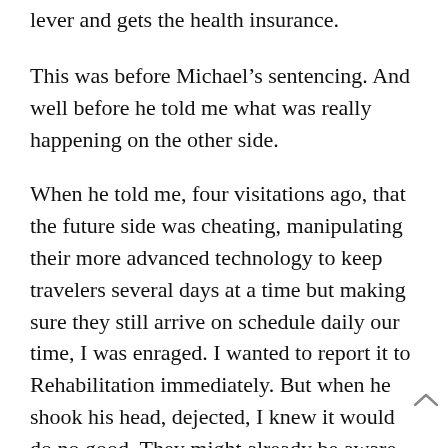lever and gets the health insurance.
This was before Michael’s sentencing. And well before he told me what was really happening on the other side.
When he told me, four visitations ago, that the future side was cheating, manipulating their more advanced technology to keep travelers several days at a time but making sure they still arrive on schedule daily our time, I was enraged. I wanted to report it to Rehabilitation immediately. But when he shook his head, dejected, I knew it would do no good. They might already be aware of the situation. Could be in on it, getting more, unreported energy in exchange for the secret extended sentences. Travelers are tools to them.